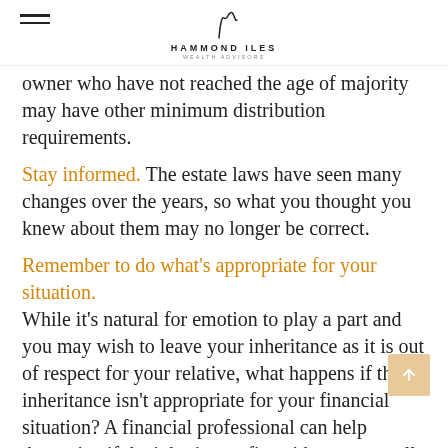HAMMOND ILES WEALTH ADVISORS
owner who have not reached the age of majority may have other minimum distribution requirements.
Stay informed. The estate laws have seen many changes over the years, so what you thought you knew about them may no longer be correct.
Remember to do what's appropriate for your situation. While it's natural for emotion to play a part and you may wish to leave your inheritance as it is out of respect for your relative, what happens if the inheritance isn't appropriate for your financial situation? A financial professional can help determine if the inheritance fits with your overall goals, time horizon, and risk tolerance.
The content is developed from sources believed to be providing accurate information. The information in this material is not intended as tax or legal